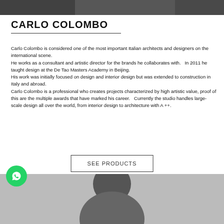[Figure (photo): Black and white photo strip at the top of the page]
CARLO COLOMBO
Carlo Colombo is considered one of the most important Italian architects and designers on the international scene.
He works as a consultant and artistic director for the brands he collaborates with.   In 2011 he taught design at the De Tao Masters Academy in Beijing.
His work was initially focused on design and interior design but was extended to construction in Italy and abroad.
Carlo Colombo is a professional who creates projects characterized by high artistic value, proof of this are the multiple awards that have marked his career.   Currently the studio handles large-scale design all over the world, from interior design to architecture with A ++.
SEE PRODUCTS
[Figure (photo): Black and white portrait photo of a person at the bottom of the page]